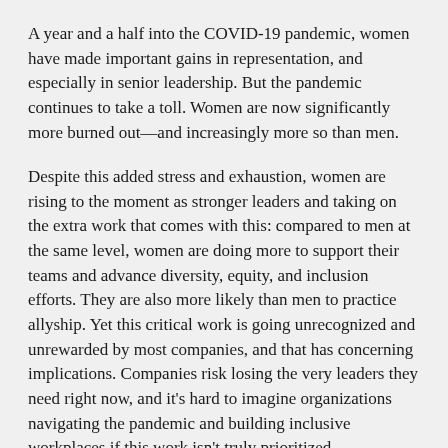A year and a half into the COVID-19 pandemic, women have made important gains in representation, and especially in senior leadership. But the pandemic continues to take a toll. Women are now significantly more burned out—and increasingly more so than men.
Despite this added stress and exhaustion, women are rising to the moment as stronger leaders and taking on the extra work that comes with this: compared to men at the same level, women are doing more to support their teams and advance diversity, equity, and inclusion efforts. They are also more likely than men to practice allyship. Yet this critical work is going unrecognized and unrewarded by most companies, and that has concerning implications. Companies risk losing the very leaders they need right now, and it's hard to imagine organizations navigating the pandemic and building inclusive workplaces if this work isn't truly prioritized.